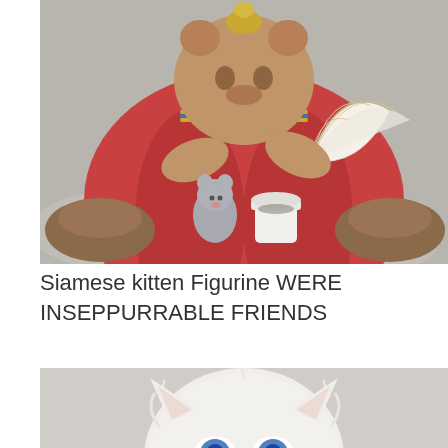[Figure (photo): Ceramic figurine of a large bear-like character in a red Asian-style robe holding a decorative fan, with a small mouse/kitten figurine and a white cup beside it, on a textured silver fabric background.]
Siamese kitten Figurine WERE INSEPPURRABLE FRIENDS
[Figure (photo): Close-up of a white fluffy ceramic kitten figurine with blue eyes, holding or wearing something decorated with floral motifs and images of other kittens.]